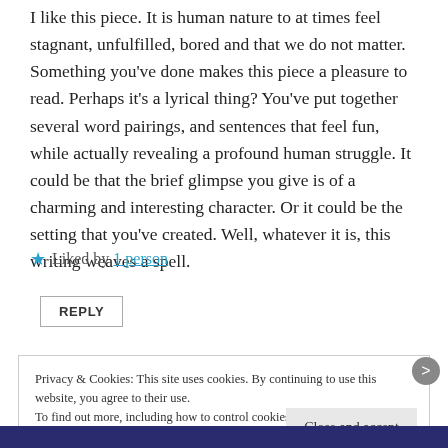I like this piece. It is human nature to at times feel stagnant, unfulfilled, bored and that we do not matter. Something you've done makes this piece a pleasure to read. Perhaps it's a lyrical thing? You've put together several word pairings, and sentences that feel fun, while actually revealing a profound human struggle. It could be that the brief glimpse you give is of a charming and interesting character. Or it could be the setting that you've created. Well, whatever it is, this writing weaves a spell.
★ Liked by 1 person
REPLY
Privacy & Cookies: This site uses cookies. By continuing to use this website, you agree to their use. To find out more, including how to control cookies, see here: Cookie Policy
Close and accept